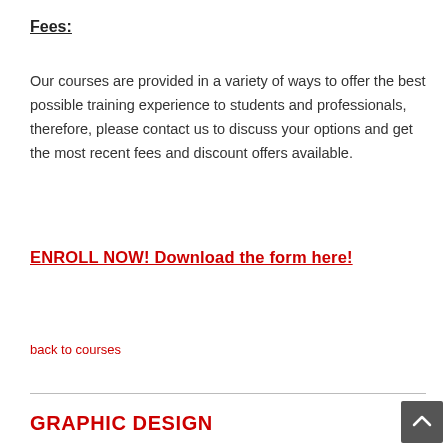Fees:
Our courses are provided in a variety of ways to offer the best possible training experience to students and professionals, therefore, please contact us to discuss your options and get the most recent fees and discount offers available.
ENROLL NOW! Download the form here!
back to courses
GRAPHIC DESIGN